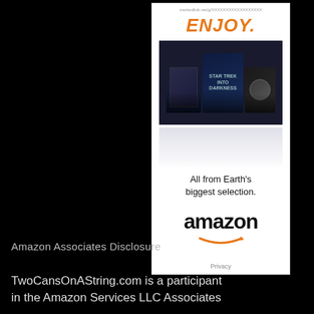[Figure (illustration): Amazon advertisement banner showing 'ENJOY.' in orange italic text, three movie/album covers arranged in a collage, tagline 'All from Earth's biggest selection.', Amazon logo with orange smile arrow, and a Privacy link at the bottom.]
Amazon Associates Disclosure
TwoCansOnAString.com is a participant in the Amazon Services LLC Associates